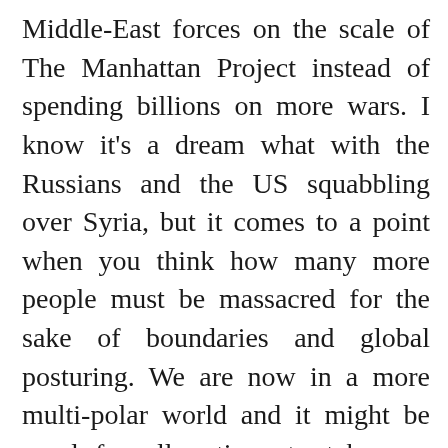Middle-East forces on the scale of The Manhattan Project instead of spending billions on more wars. I know it’s a dream what with the Russians and the US squabbling over Syria, but it comes to a point when you think how many more people must be massacred for the sake of boundaries and global posturing. We are now in a more multi-polar world and it might be good for all nations to taken an even stance in policing the planet. Otherwise it will be just more continued aggression with no end in site. Let’s hope for a more peaceful solutions through dialogue and that the old dogs tire of their